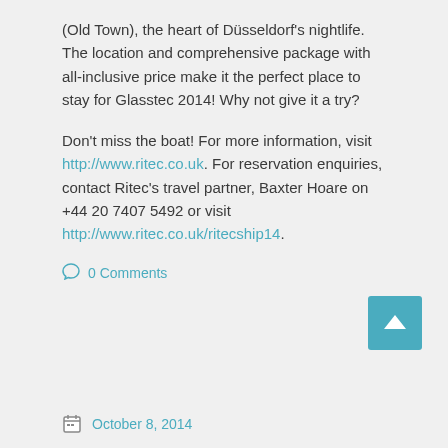(Old Town), the heart of Düsseldorf's nightlife. The location and comprehensive package with all-inclusive price make it the perfect place to stay for Glasstec 2014! Why not give it a try?

Don't miss the boat! For more information, visit http://www.ritec.co.uk. For reservation enquiries, contact Ritec's travel partner, Baxter Hoare on +44 20 7407 5492 or visit http://www.ritec.co.uk/ritecship14.
0 Comments
October 8, 2014